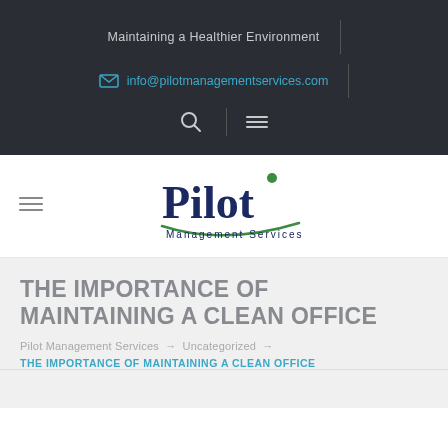Maintaining a Healthier Environment
info@pilotmanagementservices.com
[Figure (logo): Pilot Management Services logo with swoosh arc and green dot above the t in Pilot]
THE IMPORTANCE OF MAINTAINING A CLEAN OFFICE
Pilot Management Services → Uncategorized →
THE IMPORTANCE OF MAINTAINING A CLEAN OFFICE